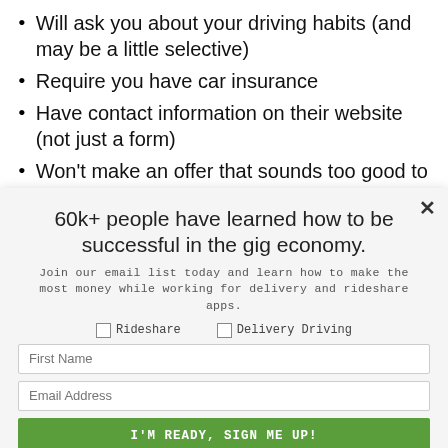Will ask you about your driving habits (and may be a little selective)
Require you have car insurance
Have contact information on their website (not just a form)
Won't make an offer that sounds too good to be true
Won't have any strange requests involving cashiers
60k+ people have learned how to be successful in the gig economy.
Join our email list today and learn how to make the most money while working for delivery and rideshare apps.
☐ Rideshare   ☐ Delivery Driving
First Name
Email Address
I'M READY, SIGN ME UP!